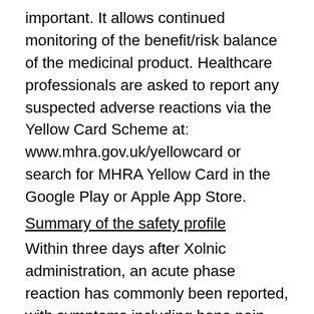important. It allows continued monitoring of the benefit/risk balance of the medicinal product. Healthcare professionals are asked to report any suspected adverse reactions via the Yellow Card Scheme at: www.mhra.gov.uk/yellowcard or search for MHRA Yellow Card in the Google Play or Apple App Store.
Summary of the safety profile
Within three days after Xolnic administration, an acute phase reaction has commonly been reported, with symptoms including bone pain, fever, fatigue, arthralgia, myalgia, rigors and arthritis with subsequent joint swelling; these symptoms usually resolve within a few days (see description of selected adverse reactions).
The following sentence is partially visible at the bottom.